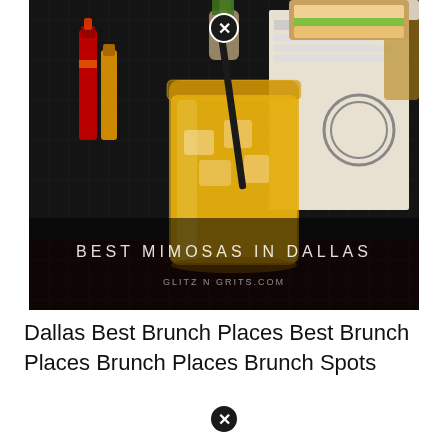[Figure (photo): Photo of a mason jar filled with golden yellow mimosa drink with a black straw and garnishes on top, sitting on a dark metal mesh surface. A red hot sauce bottle is visible on the left. Text overlay at bottom reads 'BEST MIMOSAS IN DALLAS' and 'GLITZ N GRITS.COM'. A circular close button (X) appears at the top center of the image.]
Dallas Best Brunch Places Best Brunch Places Brunch Places Brunch Spots